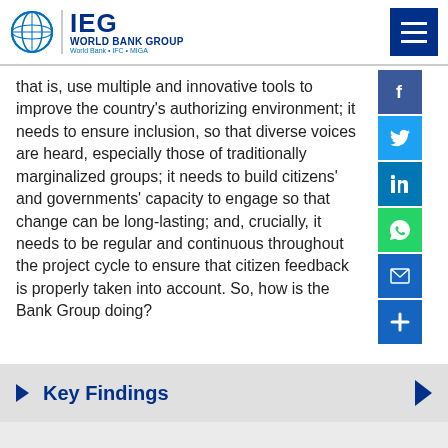IEG World Bank Group | World Bank + IFC + MIGA
that is, use multiple and innovative tools to improve the country’s authorizing environment; it needs to ensure inclusion, so that diverse voices are heard, especially those of traditionally marginalized groups; it needs to build citizens’ and governments’ capacity to engage so that change can be long-lasting; and, crucially, it needs to be regular and continuous throughout the project cycle to ensure that citizen feedback is properly taken into account. So, how is the Bank Group doing?
Key Findings